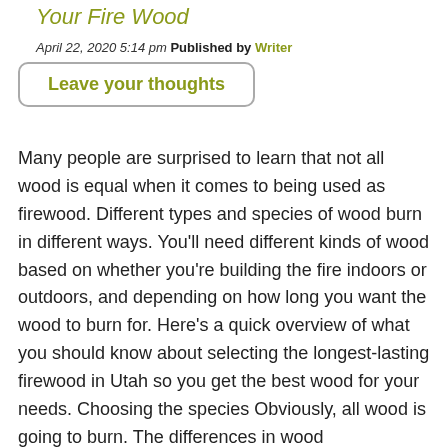Your Fire Wood
April 22, 2020 5:14 pm Published by Writer
Leave your thoughts
Many people are surprised to learn that not all wood is equal when it comes to being used as firewood. Different types and species of wood burn in different ways. You'll need different kinds of wood based on whether you're building the fire indoors or outdoors, and depending on how long you want the wood to burn for. Here's a quick overview of what you should know about selecting the longest-lasting firewood in Utah so you get the best wood for your needs. Choosing the species Obviously, all wood is going to burn. The differences in wood